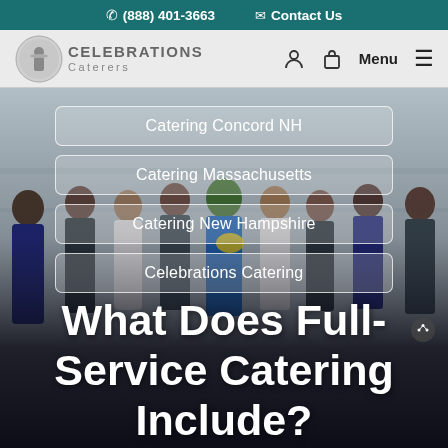(888) 401-3663   Contact Us
[Figure (logo): Celebrations Caterers logo with circular icon and text]
Menu
[Figure (photo): Group photo of catering staff in uniform (white shirts, bow ties, blue aprons) posing together]
Catering Concord NH
Catering Massachusetts
Catering New Hampshire
Celebrations Catering
What Does Full-Service Catering Include?